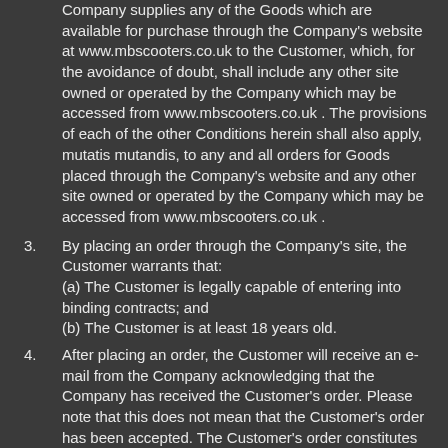Company supplies any of the Goods which are available for purchase through the Company's website at www.mbscooters.co.uk to the Customer, which, for the avoidance of doubt, shall include any other site owned or operated by the Company which may be accessed from www.mbscooters.co.uk . The provisions of each of the other Conditions herein shall also apply, mutatis mutandis, to any and all orders for Goods placed through the Company's website and any other site owned or operated by the Company which may be accessed from www.mbscooters.co.uk .
3. By placing an order through the Company's site, the Customer warrants that: (a) The Customer is legally capable of entering into binding contracts; and (b) The Customer is at least 18 years old.
4. After placing an order, the Customer will receive an e-mail from the Company acknowledging that the Company has received the Customer's order. Please note that this does not mean that the Customer's order has been accepted. The Customer's order constitutes an offer to the Company to buy Goods. All orders are subject to acceptance by the Company, and the Company will confirm such acceptance to the Customer by sending the Customer an e-mail dispatch confirmation verifying that the Goods have been dispatched. The Contract between the Customer and the Company will only be formed when the Company sends and